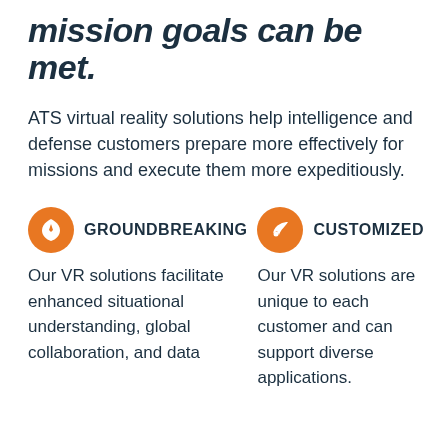mission goals can be met.
ATS virtual reality solutions help intelligence and defense customers prepare more effectively for missions and execute them more expeditiously.
GROUNDBREAKING
Our VR solutions facilitate enhanced situational understanding, global collaboration, and data
CUSTOMIZED
Our VR solutions are unique to each customer and can support diverse applications.